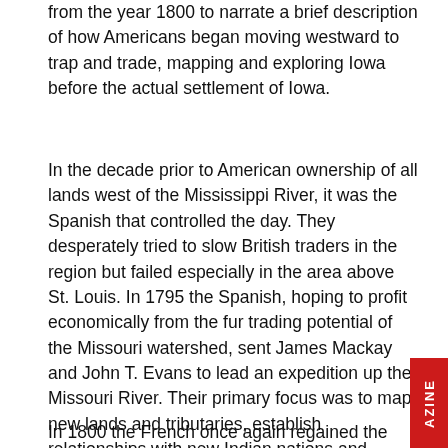from the year 1800 to narrate a brief description of how Americans began moving westward to trap and trade, mapping and exploring Iowa before the actual settlement of Iowa.
In the decade prior to American ownership of all lands west of the Mississippi River, it was the Spanish that controlled the day. They desperately tried to slow British traders in the region but failed especially in the area above St. Louis. In 1795 the Spanish, hoping to profit economically from the fur trading potential of the Missouri watershed, sent James Mackay and John T. Evans to lead an expedition up the Missouri River. Their primary focus was to map new lands and tributaries, establish relationships with new Indian nations and establish forts along the way in suitable areas in order to prevent the British from intruding on Spanish trade in the region. A fortified trading post was built by Mackay along the Missouri River south of present day Sergeant Bluff in 1795 and another man was left to build a fort at the mouth of the Platte River near where Pacific Junction is today.
In 1800 the French once again regained the Upper